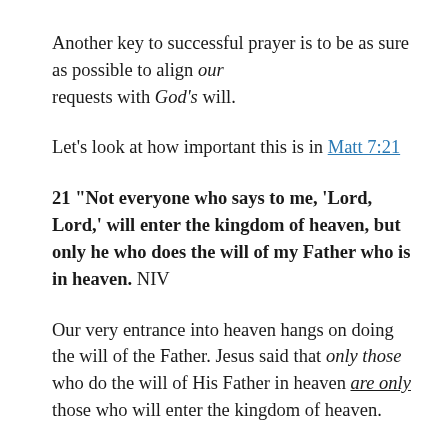Another key to successful prayer is to be as sure as possible to align our requests with God's will.
Let's look at how important this is in Matt 7:21
21 “Not everyone who says to me, ‘Lord, Lord,’ will enter the kingdom of heaven, but only he who does the will of my Father who is in heaven. NIV
Our very entrance into heaven hangs on doing the will of the Father. Jesus said that only those who do the will of His Father in heaven are only those who will enter the kingdom of heaven.